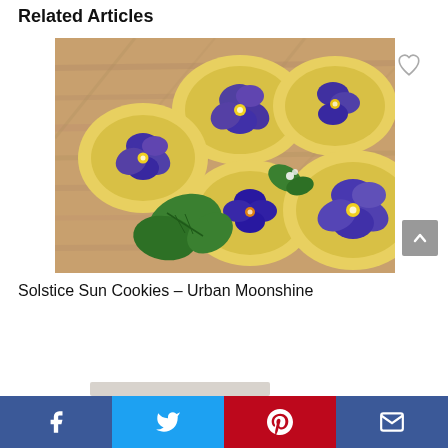Related Articles
[Figure (photo): Yellow round sugar cookies topped with purple pansy edible flowers, arranged on a wooden board with green herb leaves as garnish.]
Solstice Sun Cookies – Urban Moonshine
Facebook | Twitter | Pinterest | Email